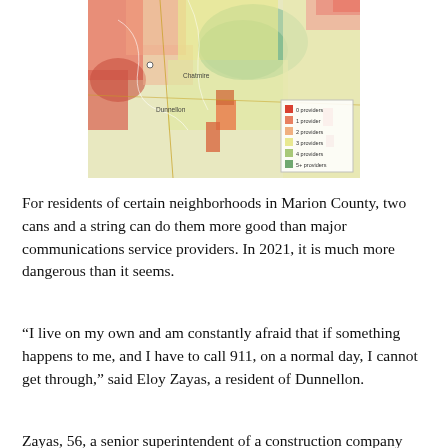[Figure (map): A color-coded map showing broadband provider availability in Marion County area, including Chatmire and Dunnellon areas. Colors range from red/orange (0-1 providers) to green/light yellow (4-5+ providers). Includes a legend showing 0-5+ providers color scale.]
For residents of certain neighborhoods in Marion County, two cans and a string can do them more good than major communications service providers. In 2021, it is much more dangerous than it seems.
“I live on my own and am constantly afraid that if something happens to me, and I have to call 911, on a normal day, I cannot get through,” said Eloy Zayas, a resident of Dunnellon.
Zayas, 56, a senior superintendent of a construction company who